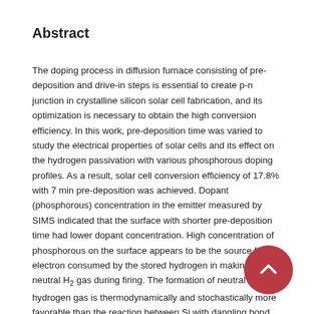Abstract
The doping process in diffusion furnace consisting of pre-deposition and drive-in steps is essential to create p-n junction in crystalline silicon solar cell fabrication, and its optimization is necessary to obtain the high conversion efficiency. In this work, pre-deposition time was varied to study the electrical properties of solar cells and its effect on the hydrogen passivation with various phosphorous doping profiles. As a result, solar cell conversion efficiency of 17.8% with 7 min pre-deposition was achieved. Dopant (phosphorous) concentration in the emitter measured by SIMS indicated that the surface with shorter pre-deposition time had lower dopant concentration. High concentration of phosphorous on the surface appears to be the source for the electron consumed by the stored hydrogen in making the neutral H₂ gas during firing. The formation of neutral hydrogen gas is thermodynamically and stochastically more favorable than the reaction between Si with dangling bond and H. This means that the passivation by the stored H during firing is strongly controlled by the dopant on the surface. This result obtained herein lays the foundations to understand the